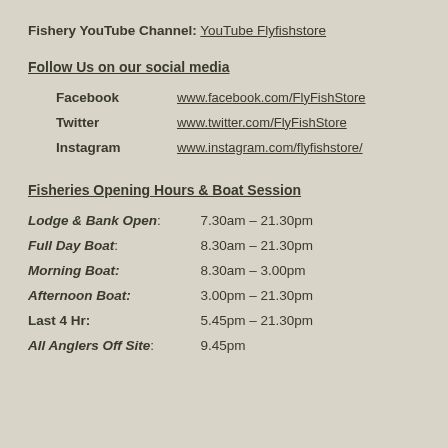Fishery YouTube Channel: YouTube Flyfishstore
Follow Us on our social media
| Facebook | www.facebook.com/FlyFishStore |
| Twitter | www.twitter.com/FlyFishStore |
| Instagram | www.instagram.com/flyfishstore/ |
Fisheries Opening Hours & Boat Session
| Lodge & Bank Open: | 7.30am – 21.30pm |
| Full Day Boat: | 8.30am – 21.30pm |
| Morning Boat: | 8.30am – 3.00pm |
| Afternoon Boat: | 3.00pm – 21.30pm |
| Last 4 Hr: | 5.45pm – 21.30pm |
| All Anglers Off Site: | 9.45pm |